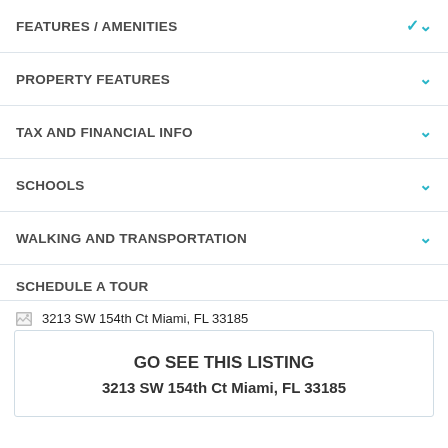FEATURES / AMENITIES
PROPERTY FEATURES
TAX AND FINANCIAL INFO
SCHOOLS
WALKING AND TRANSPORTATION
SCHEDULE A TOUR
[Figure (photo): Broken image placeholder for 3213 SW 154th Ct Miami, FL 33185]
GO SEE THIS LISTING
3213 SW 154th Ct Miami, FL 33185